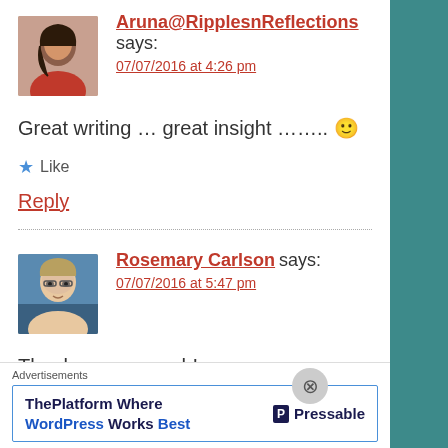Aruna@RipplesnReflections says: 07/07/2016 at 4:26 pm
Great writing … great insight …….. 🙂
★ Like
Reply
Rosemary Carlson says: 07/07/2016 at 5:47 pm
Thank you so much!
Advertisements
ThePlatform Where WordPress Works Best  Pressable